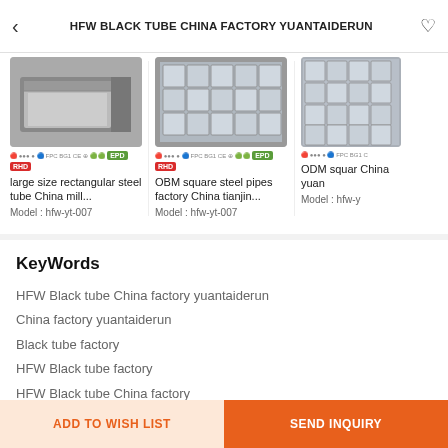HFW BLACK TUBE CHINA FACTORY YUANTAIDERUN
[Figure (photo): Three product cards showing steel tubes: (1) large size rectangular steel tube China mill... Model: hfw-yt-007, (2) OBM square steel pipes factory China tianjin... Model: hfw-yt-007, (3) ODM square ... China yuan ... Model: hfw-...]
KeyWords
HFW Black tube China factory yuantaiderun
China factory yuantaiderun
Black tube factory
HFW Black tube factory
HFW Black tube China factory
ADD TO WISH LIST   SEND INQUIRY